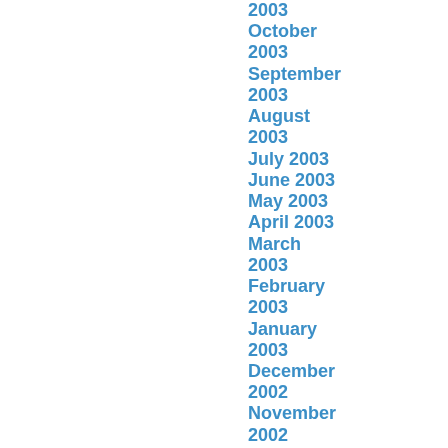2003
October 2003
September 2003
August 2003
July 2003
June 2003
May 2003
April 2003
March 2003
February 2003
January 2003
December 2002
November 2002
October